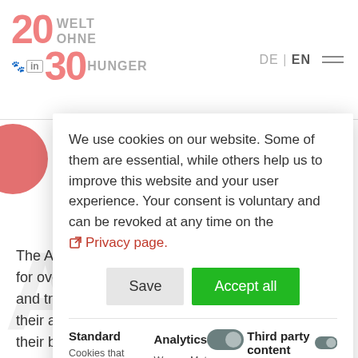20 WELT OHNE HUNGER 30 | DE | EN
We use cookies on our website. Some of them are essential, while others help us to improve this website and your user experience. Your consent is voluntary and can be revoked at any time on the Privacy page.
Save | Accept all
Standard | Analytics | Third party content
Cookies that | We use Matomo
The Andreas Hermes Akademie (AHA) has stood for over 60 years for the comprehensive education and training of farmers in Germany. It strengthens their ability to take responsibility for themselves, their business and the